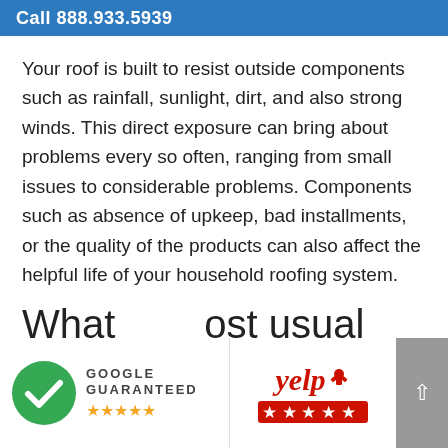Call 888.933.5939
Your roof is built to resist outside components such as rainfall, sunlight, dirt, and also strong winds. This direct exposure can bring about problems every so often, ranging from small issues to considerable problems. Components such as absence of upkeep, bad installments, or the quality of the products can also affect the helpful life of your household roofing system.
What are the most usual ... roofing in
[Figure (logo): Google Guaranteed badge with green checkmark and 5 gold stars]
[Figure (logo): Yelp logo with 5 red stars]